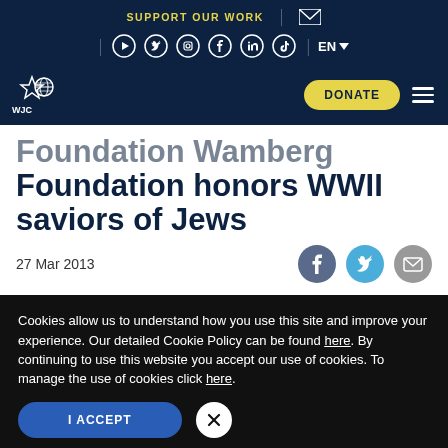SUPPORT OUR WORK | EN
[Figure (logo): World Jewish Congress (WJC) logo — white star and globe icon with WJC text and WORLD JEWISH CONGRESS below]
Foundation honors WWII saviors of Jews
27 Mar 2013
Cookies allow us to understand how you use this site and improve your experience. Our detailed Cookie Policy can be found here. By continuing to use this website you accept our use of cookies. To manage the use of cookies click here.